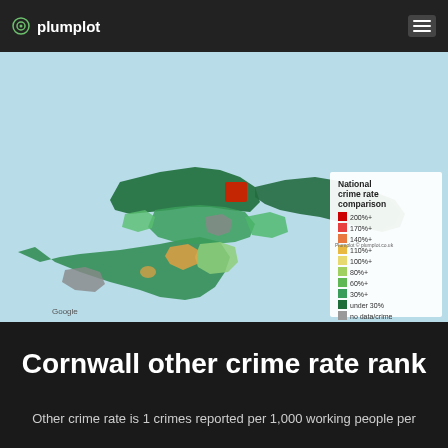plumplot
[Figure (map): Choropleth map of Cornwall and surrounding areas showing national crime rate comparison by region. Legend shows color scale from red (200%+) through orange, yellow, light green, medium green to dark green (under 30%) and grey (no data/crime). One area near the north coast shows red (200%+), a few areas show grey (no data), most areas show various shades of green indicating below-average crime rates.]
Cornwall other crime rate rank
Other crime rate is 1 crimes reported per 1,000 working people per